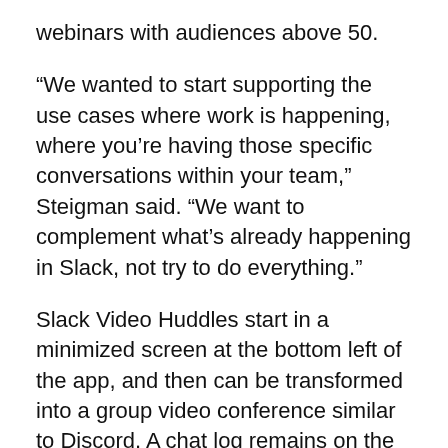webinars with audiences above 50.
“We wanted to start supporting the use cases where work is happening, where you’re having those specific conversations within your team,” Steigman said. “We want to complement what’s already happening in Slack, not try to do everything.”
Slack Video Huddles start in a minimized screen at the bottom left of the app, and then can be transformed into a group video conference similar to Discord. A chat log remains on the right part of the app for users to post messages and documents. After a meeting, the chat log gets saved and put back into the channel where the huddle was started.